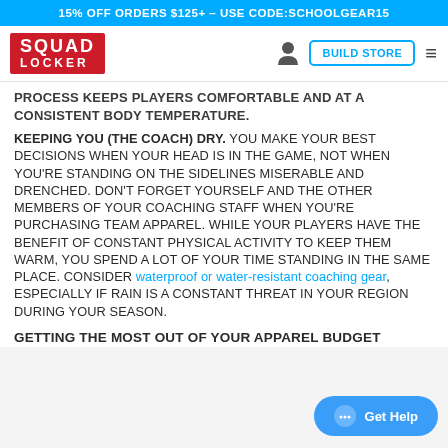15% OFF ORDERS $125+ - USE CODE:SCHOOLGEAR15
[Figure (logo): SquadLocker logo in red box with white bold text]
PROCESS KEEPS PLAYERS COMFORTABLE AND AT A CONSISTENT BODY TEMPERATURE.
KEEPING YOU (THE COACH) DRY. YOU MAKE YOUR BEST DECISIONS WHEN YOUR HEAD IS IN THE GAME, NOT WHEN YOU'RE STANDING ON THE SIDELINES MISERABLE AND DRENCHED. DON'T FORGET YOURSELF AND THE OTHER MEMBERS OF YOUR COACHING STAFF WHEN YOU'RE PURCHASING TEAM APPAREL. WHILE YOUR PLAYERS HAVE THE BENEFIT OF CONSTANT PHYSICAL ACTIVITY TO KEEP THEM WARM, YOU SPEND A LOT OF YOUR TIME STANDING IN THE SAME PLACE. CONSIDER waterproof or water-resistant coaching gear, ESPECIALLY IF RAIN IS A CONSTANT THREAT IN YOUR REGION DURING YOUR SEASON.
GETTING THE MOST OUT OF YOUR APPAREL BUDGET